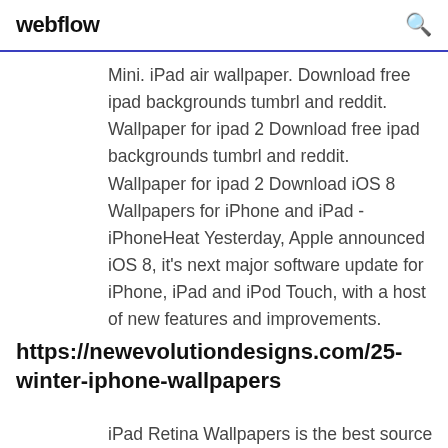webflow
Mini. iPad air wallpaper. Download free ipad backgrounds tumbrl and reddit. Wallpaper for ipad 2 Download free ipad backgrounds tumbrl and reddit. Wallpaper for ipad 2 Download iOS 8 Wallpapers for iPhone and iPad - iPhoneHeat Yesterday, Apple announced iOS 8, it's next major software update for iPhone, iPad and iPod Touch, with a host of new features and improvements.
https://newevolutiondesigns.com/25-winter-iphone-wallpapers
iPad Retina Wallpapers is the best source of